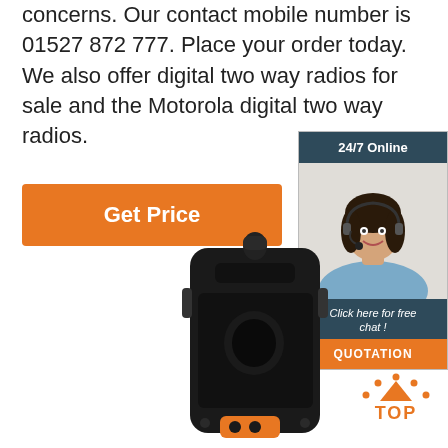concerns. Our contact mobile number is 01527 872 777. Place your order today. We also offer digital two way radios for sale and the Motorola digital two way radios.
[Figure (illustration): Orange 'Get Price' button]
[Figure (photo): Sidebar widget with dark teal header '24/7 Online', photo of smiling female customer service representative wearing headset, dark teal footer 'Click here for free chat!', and orange 'QUOTATION' button]
[Figure (photo): Black two-way radio handset with orange charging connector at the bottom, viewed from the back]
[Figure (illustration): Orange 'TOP' back-to-top button with dotted arc above the text]